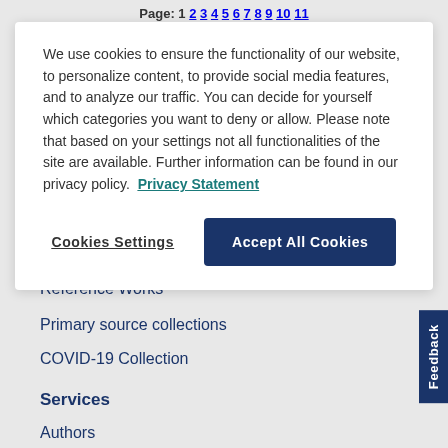Page: 1 2 3 4 5 6 7 8 9 10 11
We use cookies to ensure the functionality of our website, to personalize content, to provide social media features, and to analyze our traffic. You can decide for yourself which categories you want to deny or allow. Please note that based on your settings not all functionalities of the site are available. Further information can be found in our privacy policy.  Privacy Statement
Cookies Settings
Accept All Cookies
Reference Works
Primary source collections
COVID-19 Collection
Services
Authors